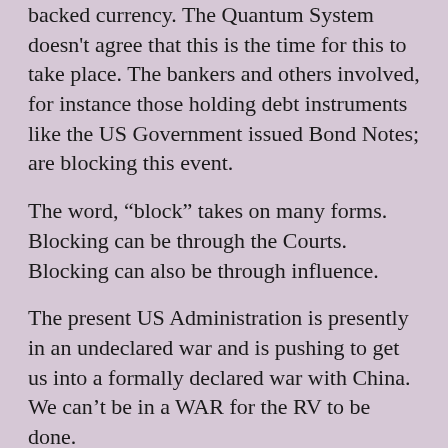backed currency. The Quantum System doesn't agree that this is the time for this to take place. The bankers and others involved, for instance those holding debt instruments like the US Government issued Bond Notes; are blocking this event.
The word, “block” takes on many forms. Blocking can be through the Courts. Blocking can also be through influence.
The present US Administration is presently in an undeclared war and is pushing to get us into a formally declared war with China. We can’t be in a WAR for the RV to be done.
We have continual delays until We the People are safely able to exchange.
As evidenced on mainstream news, the present Administration is pushing hard and into the US...